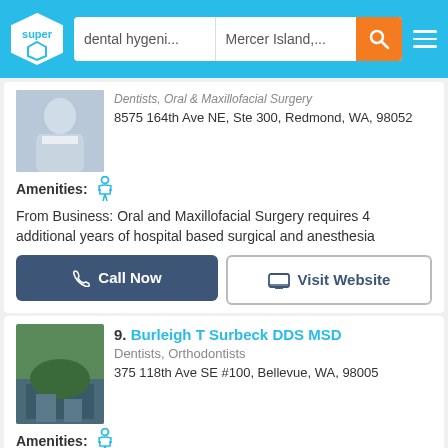dental hygeni... | Mercer Island,...
Dentists, Oral & Maxillofacial Surgery
8575 164th Ave NE, Ste 300, Redmond, WA, 98052
Amenities: ♿
From Business: Oral and Maxillofacial Surgery requires 4 additional years of hospital based surgical and anesthesia
Call Now | Visit Website
9. Burleigh T Surbeck DDS MSD
Dentists, Orthodontists
375 118th Ave SE #100, Bellevue, WA, 98005
Amenities: ♿
From Business: We know that our office is only as effective and as welcoming as the people who work in it, which is why we take
Call Now | Visit Website